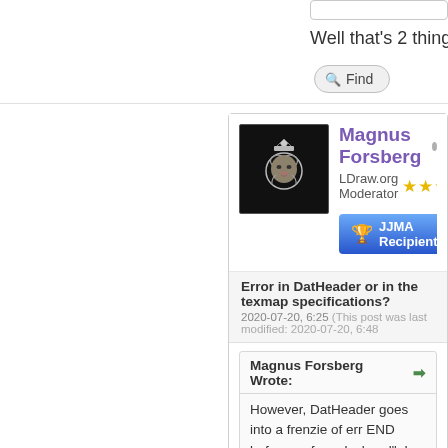Well that's 2 things that are ambiguous
[Figure (screenshot): Find button with magnifying glass icon]
[Figure (photo): Magnus Forsberg avatar - black background with lion/crown heraldic image]
Magnus Forsberg
LDraw.org Moderator ★★★★★
JJMA Recipient
Error in DatHeader or in the texmap specifications?
2020-07-20, 6:25 (This post was last modified: 2020-07-20, 6:48
Magnus Forsberg Wrote:
However, DatHeader goes into a frenzie of err END before surface declared". I guess it's two (The same thing happens on 6092p01.dat)
To clarify.